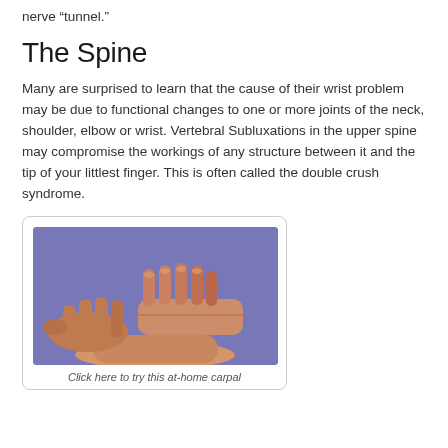nerve “tunnel.”
The Spine
Many are surprised to learn that the cause of their wrist problem may be due to functional changes to one or more joints of the neck, shoulder, elbow or wrist. Vertebral Subluxations in the upper spine may compromise the workings of any structure between it and the tip of your littlest finger. This is often called the double crush syndrome.
[Figure (photo): Hands performing wrist/carpal tunnel test on a purple background — one hand pressing on the wrist of another outstretched hand]
Click here to try this at-home carpal